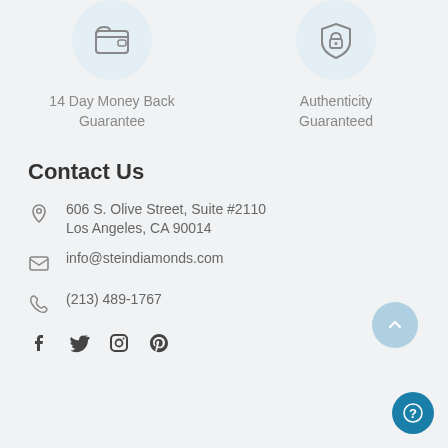[Figure (illustration): Wallet icon in light blue circle representing 14 Day Money Back Guarantee]
14 Day Money Back Guarantee
[Figure (illustration): Shield lock icon in light blue circle representing Authenticity Guaranteed]
Authenticity Guaranteed
Contact Us
606 S. Olive Street, Suite #2110
Los Angeles, CA 90014
info@steindiamonds.com
(213) 489-1767
[Figure (illustration): Social media icons: Facebook, Twitter, Instagram, Pinterest]